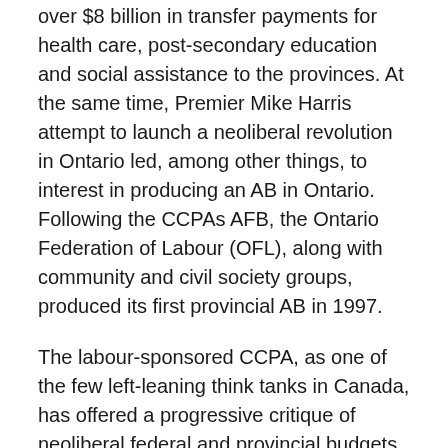over $8 billion in transfer payments for health care, post-secondary education and social assistance to the provinces. At the same time, Premier Mike Harris attempt to launch a neoliberal revolution in Ontario led, among other things, to interest in producing an AB in Ontario. Following the CCPAs AFB, the Ontario Federation of Labour (OFL), along with community and civil society groups, produced its first provincial AB in 1997.
The labour-sponsored CCPA, as one of the few left-leaning think tanks in Canada, has offered a progressive critique of neoliberal federal and provincial budgets for more than a decade now. It has done so in response not only to the budgets themselves, but as a counter to the right-wing think tanks that dominate the field of expert policy commentary on state budgets. Those think tanks – the C.D. Howe Institute, the Conference Board of Canada,